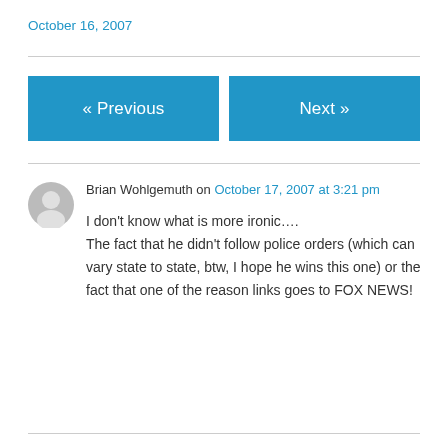October 16, 2007
« Previous
Next »
Brian Wohlgemuth on October 17, 2007 at 3:21 pm
I don't know what is more ironic….
The fact that he didn't follow police orders (which can vary state to state, btw, I hope he wins this one) or the fact that one of the reason links goes to FOX NEWS!